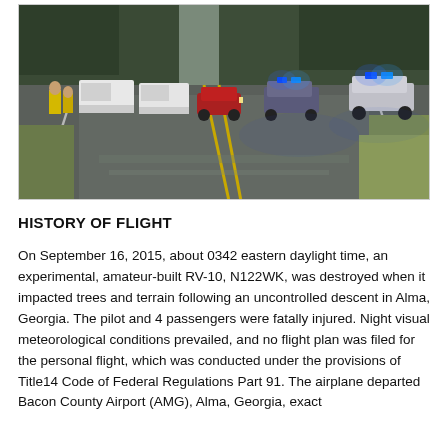[Figure (photo): Photograph of a wet highway at dawn/dusk showing police vehicles with blue lights activated, emergency personnel in yellow vests on the left side of the road, and multiple vehicles including police cruisers and trucks. Trees line both sides of the road. The scene is a road closure or accident investigation site.]
HISTORY OF FLIGHT
On September 16, 2015, about 0342 eastern daylight time, an experimental, amateur-built RV-10, N122WK, was destroyed when it impacted trees and terrain following an uncontrolled descent in Alma, Georgia. The pilot and 4 passengers were fatally injured. Night visual meteorological conditions prevailed, and no flight plan was filed for the personal flight, which was conducted under the provisions of Title14 Code of Federal Regulations Part 91. The airplane departed Bacon County Airport (AMG), Alma, Georgia, exact